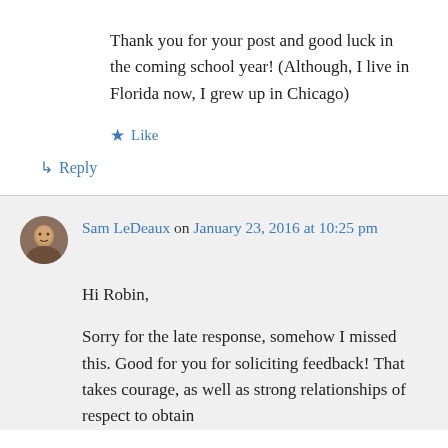Thank you for your post and good luck in the coming school year! (Although, I live in Florida now, I grew up in Chicago)
★ Like
↳ Reply
Sam LeDeaux on January 23, 2016 at 10:25 pm
Hi Robin,
Sorry for the late response, somehow I missed this. Good for you for soliciting feedback! That takes courage, as well as strong relationships of respect to obtain